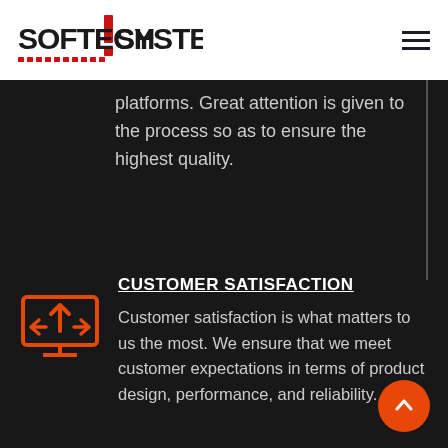SOFTECH!SYSTEMS
platforms. Great attention is given to the process so as to ensure the highest quality.
[Figure (illustration): Orange monitor icon with arrows pointing left, up, and right, representing multi-platform or cross-platform functionality]
CUSTOMER SATISFACTION
Customer satisfaction is what matters to us the most. We ensure that we meet customer expectations in terms of product design, performance, and reliability.